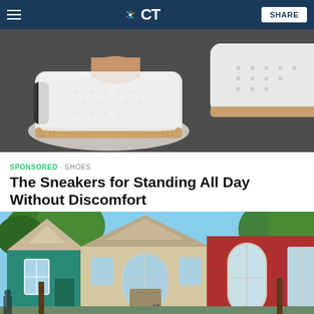NBC CT — SHARE
[Figure (photo): Close-up photo of feet wearing white perforated sneakers with tan/brown soles on a dark asphalt surface.]
SPONSORED · SHOES
The Sneakers for Standing All Day Without Discomfort
[Figure (photo): Photo of colorful suburban houses with teal, beige, and red siding, large windows, and trees in the background on a sunny day. House number 68 is visible.]